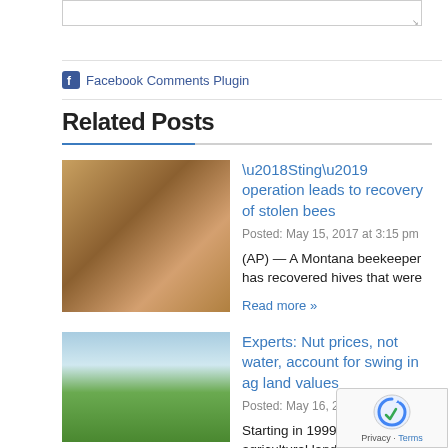[Figure (screenshot): Partial textarea input box with resize handle at top of page]
Facebook Comments Plugin
Related Posts
[Figure (photo): Photo of bees on a hive]
‘Sting’ operation leads to recovery of stolen bees
Posted: May 15, 2017 at 3:15 pm
(AP) — A Montana beekeeper has recovered hives that were
Read more »
[Figure (photo): Photo of a vineyard with sandy soil and blue sky]
Experts: Nut prices, not water, account for swing in ag land values
Posted: May 16, 2017 at 3:31 pm
Starting in 1999, prices for agricultural land in the South